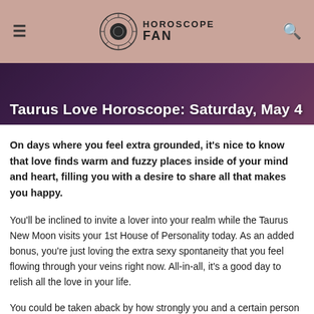HOROSCOPE FAN
Taurus Love Horoscope: Saturday, May 4
On days where you feel extra grounded, it's nice to know that love finds warm and fuzzy places inside of your mind and heart, filling you with a desire to share all that makes you happy.
You'll be inclined to invite a lover into your realm while the Taurus New Moon visits your 1st House of Personality today. As an added bonus, you're just loving the extra sexy spontaneity that you feel flowing through your veins right now. All-in-all, it's a good day to relish all the love in your life.
You could be taken aback by how strongly you and a certain person click, and this is something to be curious about rather than suspicious of. Don't be concerned that someone is telling you what